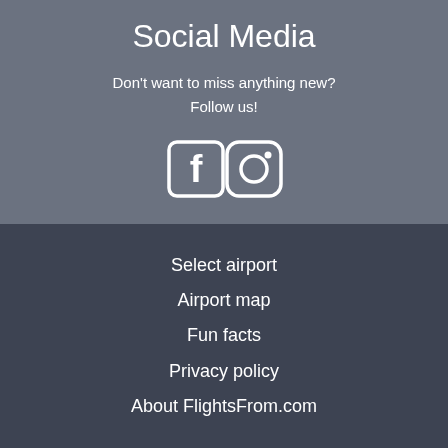Social Media
Don't want to miss anything new?
Follow us!
[Figure (illustration): Facebook and Instagram icons in white]
Select airport
Airport map
Fun facts
Privacy policy
About FlightsFrom.com